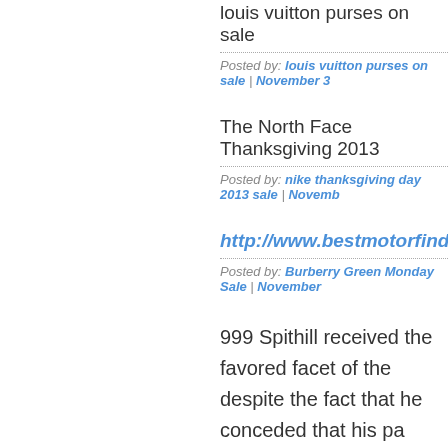louis vuitton purses on sale
Posted by: louis vuitton purses on sale | November 3
The North Face Thanksgiving 2013
Posted by: nike thanksgiving day 2013 sale | Novemb
http://www.bestmotorfinder.com/
Posted by: Burberry Green Monday Sale | November
999 Spithill received the favored facet of the despite the fact that he conceded that his pa tradition of extravaganzas.
louis vuitton handbags replicas
Posted by: louis vuitton handbags replicas | Novemb
2013 North Face Black Friday